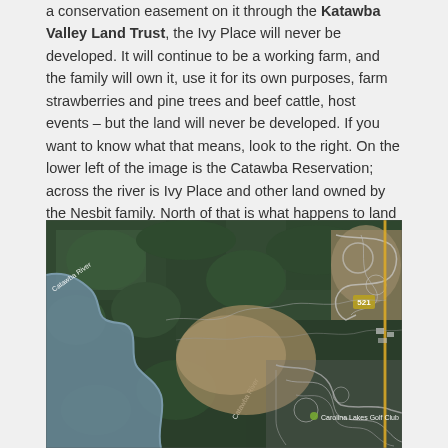a conservation easement on it through the Katawba Valley Land Trust, the Ivy Place will never be developed. It will continue to be a working farm, and the family will own it, use it for its own purposes, farm strawberries and pine trees and beef cattle, host events – but the land will never be developed. If you want to know what that means, look to the right. On the lower left of the image is the Catawba Reservation; across the river is Ivy Place and other land owned by the Nesbit family. North of that is what happens to land without conservation easements.
[Figure (photo): Aerial satellite map view showing the Catawba River area with green forested land, development with roads and cleared lots, and a label for Carolina Lakes Golf Club visible in the lower right.]